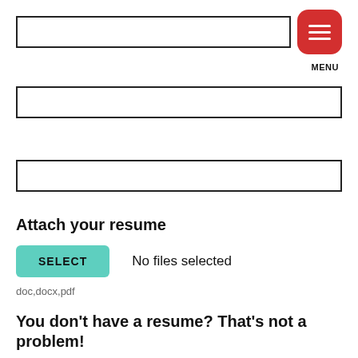[Figure (screenshot): Page header with a text input bar and a red rounded menu button with three horizontal white lines]
MENU
[Figure (screenshot): Empty text input field (first form field)]
[Figure (screenshot): Empty text input field (second form field)]
Attach your resume
[Figure (screenshot): File upload button labeled SELECT in teal/mint color with 'No files selected' text beside it]
doc,docx,pdf
You don't have a resume? That's not a problem!